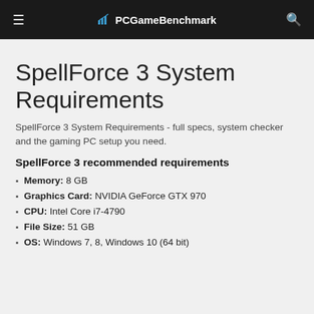PCGameBenchmark
SpellForce 3 System Requirements
SpellForce 3 System Requirements - full specs, system checker and the gaming PC setup you need.
SpellForce 3 recommended requirements
Memory: 8 GB
Graphics Card: NVIDIA GeForce GTX 970
CPU: Intel Core i7-4790
File Size: 51 GB
OS: Windows 7, 8, Windows 10 (64 bit)